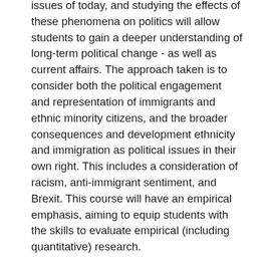issues of today, and studying the effects of these phenomena on politics will allow students to gain a deeper understanding of long-term political change - as well as current affairs. The approach taken is to consider both the political engagement and representation of immigrants and ethnic minority citizens, and the broader consequences and development ethnicity and immigration as political issues in their own right. This includes a consideration of racism, anti-immigrant sentiment, and Brexit. This course will have an empirical emphasis, aiming to equip students with the skills to evaluate empirical (including quantitative) research.
Aims
The unit aims to:
Give students comparative and cross-national insights into immigration and ethnicity in the